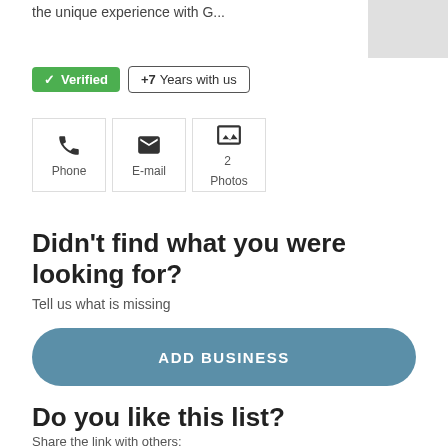the unique experience with G...
[Figure (other): Gray placeholder image box in top right corner]
✓ Verified  +7 Years with us
[Figure (other): Three contact option boxes: Phone, E-mail, Photos (with number 2)]
Didn't find what you were looking for?
Tell us what is missing
ADD BUSINESS
Do you like this list?
Share the link with others:
[Figure (other): Social sharing icons: Facebook, LinkedIn, Twitter in circles]